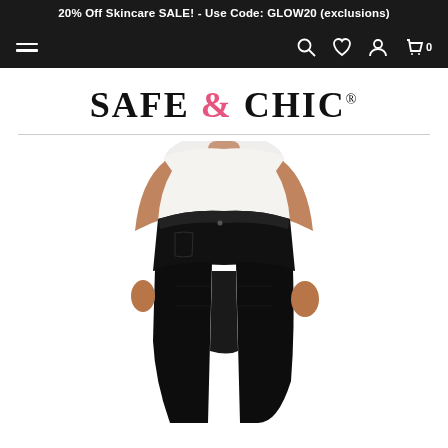20% Off Skincare SALE! - Use Code: GLOW20 (exclusions)
[Figure (screenshot): Navigation bar with hamburger menu on left and icons (search, wishlist, account, cart with 0 badge) on right, dark background]
SAFE & CHIC
[Figure (photo): Woman wearing black high-waist skinny jeans and white top, cropped at torso and legs, product photo on white background]